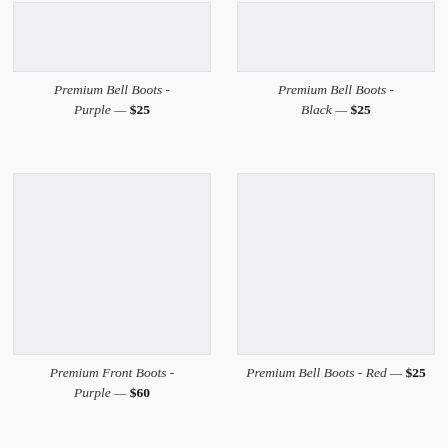[Figure (photo): Product image placeholder - Premium Bell Boots Purple]
Premium Bell Boots - Purple — $25
[Figure (photo): Product image placeholder - Premium Bell Boots Black]
Premium Bell Boots - Black — $25
[Figure (photo): Product image placeholder - Premium Front Boots Purple]
Premium Front Boots - Purple — $60
[Figure (photo): Product image placeholder - Premium Bell Boots Red]
Premium Bell Boots - Red — $25